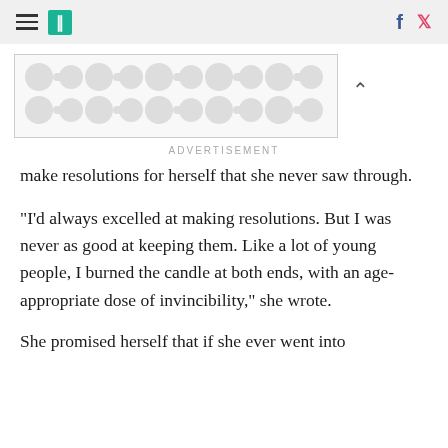HuffPost navigation with hamburger menu, logo, Facebook and Twitter icons
[Figure (other): Advertisement banner with grey polka dot / dumbbell pattern on white background, with a collapse arrow chevron to the right]
ADVERTISEMENT
make resolutions for herself that she never saw through.
"I'd always excelled at making resolutions. But I was never as good at keeping them. Like a lot of young people, I burned the candle at both ends, with an age-appropriate dose of invincibility," she wrote.
She promised herself that if she ever went into